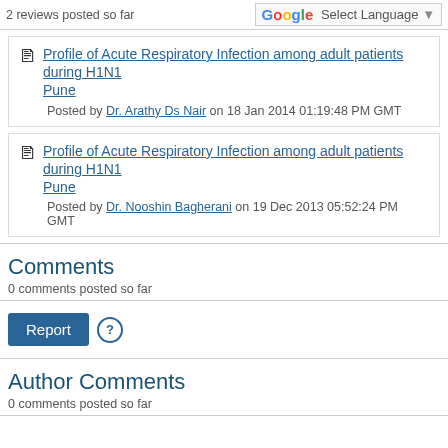2 reviews posted so far
Profile of Acute Respiratory Infection among adult patients during H1N1 Pune
Posted by Dr. Arathy Ds Nair on 18 Jan 2014 01:19:48 PM GMT
Profile of Acute Respiratory Infection among adult patients during H1N1 Pune
Posted by Dr. Nooshin Bagherani on 19 Dec 2013 05:52:24 PM GMT
Comments
0 comments posted so far
Report
Author Comments
0 comments posted so far